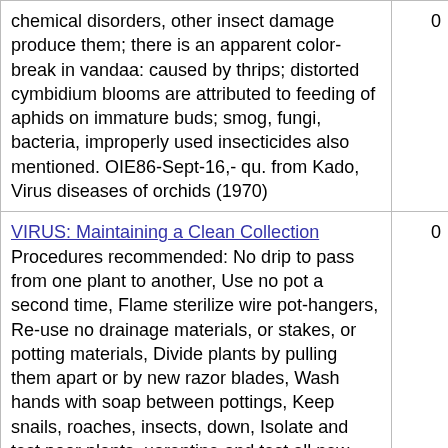| Content | Value |
| --- | --- |
| chemical disorders, other insect damage produce them; there is an apparent color-break in vandaa: caused by thrips; distorted cymbidium blooms are attributed to feeding of aphids on immature buds; smog, fungi, bacteria, improperly used insecticides also mentioned. OIE86-Sept-16,- qu. from Kado, Virus diseases of orchids (1970) | 0 |
| VIRUS: Maintaining a Clean Collection Procedures recommended: No drip to pass from one plant to another, Use no pot a second time, Flame sterilize wire pot-hangers, Re-use no drainage materials, or stakes, or potting materials, Divide plants by pulling them apart or by new razor blades, Wash hands with soap between pottings, Keep snails, roaches, insects, down, Isolate and test poor plants, uarentine and test all new ones. A87-1055 | 0 |
| VIRUS: Modes of Transmission By insects, mostly aphids and leaf- hoppers, grasshoppers and beetles; seed and pollen are less common transmitters; meristerns almost always carry virus if the parent was infected; mechani cal transmission |  |